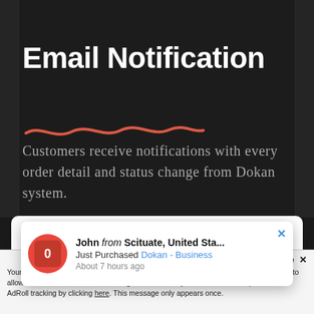Email Notification
[Figure (illustration): Wavy red/coral decorative underline beneath the title]
Customers receive notifications with every order detail and status change from Dokan system.
[Figure (screenshot): White card showing a Thank You email notification preview with John from Scituate, United Sta... Just Purchased Dokan - Business About 7 hours ago, order details section with number 234556 and date Jan 1, 2022]
Accept and Close ✕
Your browser settings do not allow cross-site tracking for advertising. Click on this page to allow AdRoll to use cross-site tracking to tailor ads to you. Learn more or opt out of this AdRoll tracking by clicking here. This message only appears once.